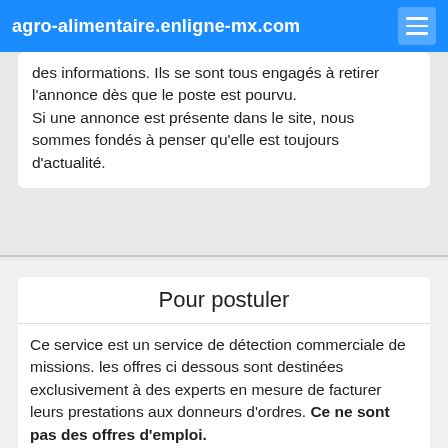agro-alimentaire.enligne-mx.com
des informations. Ils se sont tous engagés à retirer l'annonce dès que le poste est pourvu. Si une annonce est présente dans le site, nous sommes fondés à penser qu'elle est toujours d'actualité.
Pour postuler
Ce service est un service de détection commerciale de missions. les offres ci dessous sont destinées exclusivement à des experts en mesure de facturer leurs prestations aux donneurs d'ordres. Ce ne sont pas des offres d'emploi.